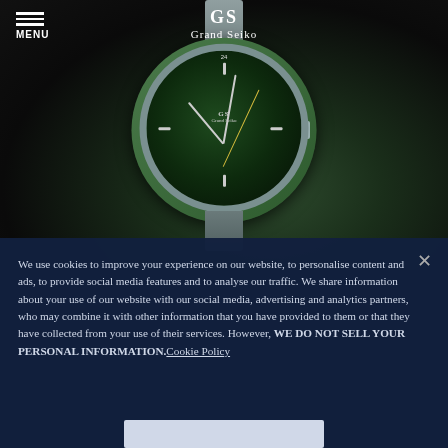MENU | Grand Seiko
[Figure (photo): Grand Seiko watch with green dial and green bezel, steel bracelet, shown against dark green foliage background]
We use cookies to improve your experience on our website, to personalise content and ads, to provide social media features and to analyse our traffic. We share information about your use of our website with our social media, advertising and analytics partners, who may combine it with other information that you have provided to them or that they have collected from your use of their services. However, WE DO NOT SELL YOUR PERSONAL INFORMATION. Cookie Policy